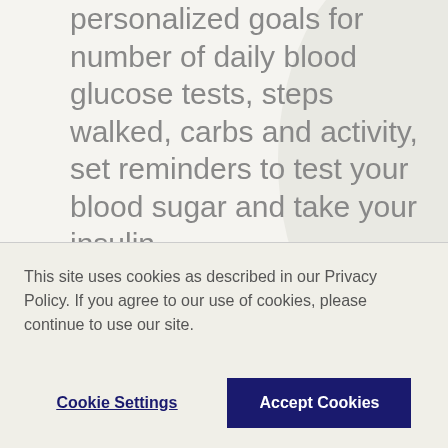personalized goals for number of daily blood glucose tests, steps walked, carbs and activity, set reminders to test your blood sugar and take your insulin.
The Insulin Mentor™ feature is indicated for people with diabetes requiring bolus insulin, age 18 and older. Before use, a physician or healthcare professional must activate the functionality and program the set-up of patient-specific parameters and patients are required to complete a first-use tutorial. An accurate dose recommendation is dependent upon the data that you entered into the functionality as well as and the settings your healthcare professional entered inclusive of
This site uses cookies as described in our Privacy Policy. If you agree to our use of cookies, please continue to use our site.
Cookie Settings
Accept Cookies